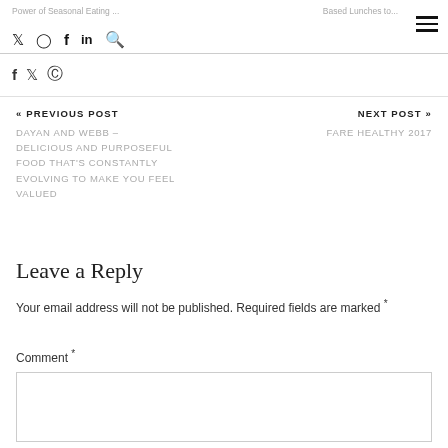Power of Seasonal Eating ... | social icons | Based Lunches to...
f  y  ⊙
« PREVIOUS POST
DAYAN AND WEBB – DELICIOUS AND PURPOSEFUL FOOD THAT'S CONSTANTLY EVOLVING TO MAKE YOU FEEL VALUED
NEXT POST »
FARE HEALTHY 2017
Leave a Reply
Your email address will not be published. Required fields are marked *
Comment *